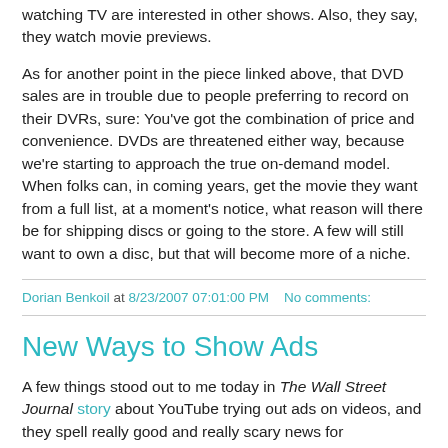watching TV are interested in other shows. Also, they say, they watch movie previews.
As for another point in the piece linked above, that DVD sales are in trouble due to people preferring to record on their DVRs, sure: You've got the combination of price and convenience. DVDs are threatened either way, because we're starting to approach the true on-demand model. When folks can, in coming years, get the movie they want from a full list, at a moment's notice, what reason will there be for shipping discs or going to the store. A few will still want to own a disc, but that will become more of a niche.
Dorian Benkoil at 8/23/2007 07:01:00 PM    No comments:
New Ways to Show Ads
A few things stood out to me today in The Wall Street Journal story about YouTube trying out ads on videos, and they spell really good and really scary news for advertisers.